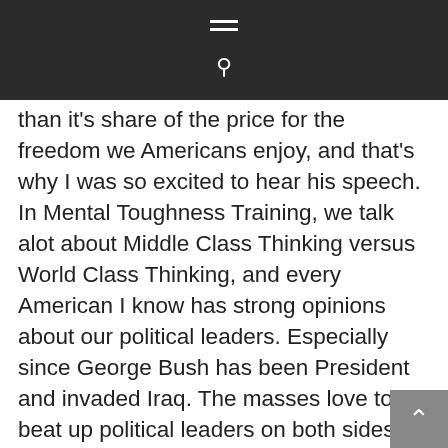[Navigation bar with hamburger menu and search icon]
than it's share of the price for the freedom we Americans enjoy, and that's why I was so excited to hear his speech. In Mental Toughness Training, we talk alot about Middle Class Thinking versus World Class Thinking, and every American I know has strong opinions about our political leaders. Especially since George Bush has been President and invaded Iraq. The masses love to beat up political leaders on both sides of the aisle, and I'm not saying they shouldn't. But is their thinking more middle class or world class? Commander Wiz Withers has a new blog you should check out if you're interested in the lessons of military leadership. With five generations of patriots in his family, this gentleman knows what he's talking about. www.militaryleadershipblog.com  As always,